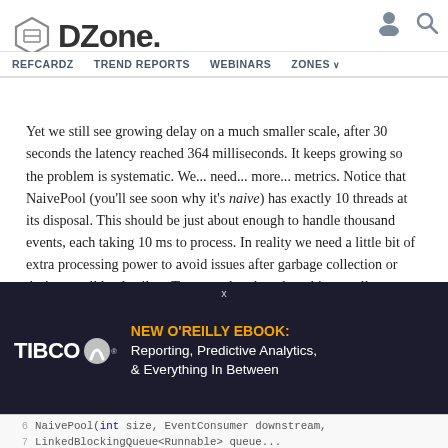DZone. REFCARDZ TREND REPORTS WEBINARS ZONES
Yet we still see growing delay on a much smaller scale, after 30 seconds the latency reached 364 milliseconds. It keeps growing so the problem is systematic. We... need... more... metrics. Notice that NaivePool (you'll see soon why it's naive) has exactly 10 threads at its disposal. This should be just about enough to handle thousand events, each taking 10 ms to process. In reality we need a little bit of extra processing power to avoid issues after garbage collection or during small load spikes. To prove that thread pool is actually our bottleneck it's best to monitor its internal queue. This requires a little bit of work:
[Figure (screenshot): TIBCO advertisement overlay: NEW O'REILLY EBOOK: Reporting, Predictive Analytics, & Everything In Between]
6   NaivePool(int size, EventConsumer downstream,
7      LinkedBlockingQueue<Runnable> queue...